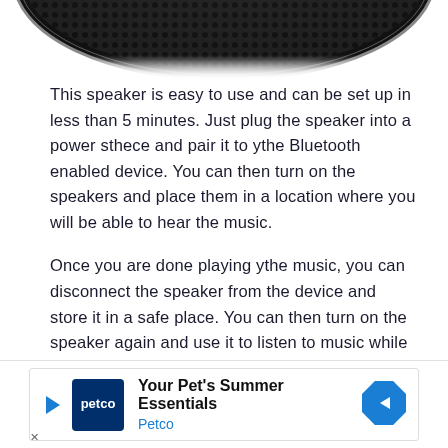[Figure (photo): Bottom portion of a black Bluetooth speaker with dark mesh grille visible at top of page]
This speaker is easy to use and can be set up in less than 5 minutes. Just plug the speaker into a power sthece and pair it to ythe Bluetooth enabled device. You can then turn on the speakers and place them in a location where you will be able to hear the music.
Once you are done playing ythe music, you can disconnect the speaker from the device and store it in a safe place. You can then turn on the speaker again and use it to listen to music while you are on the go. This speaker is also quite powerful. It can play music for up to 5 hthes on a
[Figure (other): Advertisement banner for Petco: 'Your Pet's Summer Essentials' with Petco logo and blue navigation arrow icon]